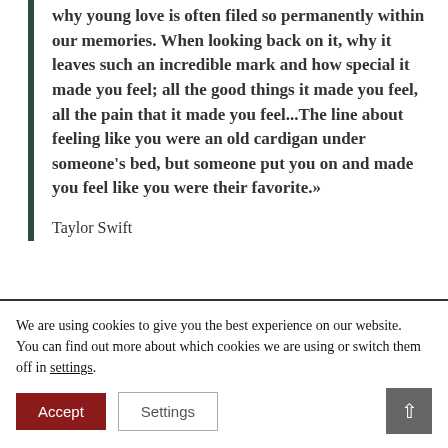why young love is often filed so permanently within our memories. When looking back on it, why it leaves such an incredible mark and how special it made you feel; all the good things it made you feel, all the pain that it made you feel...The line about feeling like you were an old cardigan under someone's bed, but someone put you on and made you feel like you were their favorite.»
Taylor Swift
Taylor further told The New York Times in 2021:
We are using cookies to give you the best experience on our website.
You can find out more about which cookies we are using or switch them off in settings.